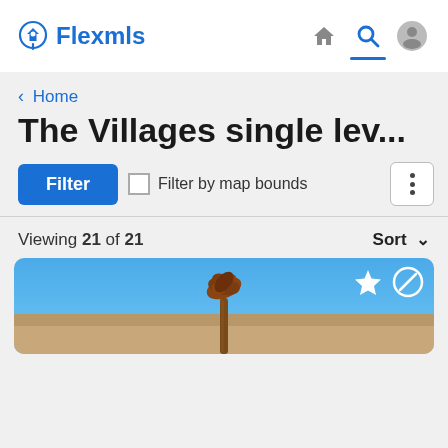[Figure (logo): Flexmls logo with location pin icon in blue]
[Figure (screenshot): Navigation icons: home, search (active with blue underline), user profile]
< Home
The Villages single lev...
Filter  Filter by map bounds  ⋮
Viewing 21 of 21   Sort ∨
[Figure (photo): Listing photo showing a house with a palm tree against a blue sky, with star (favorite) and cancel icons in the top right]